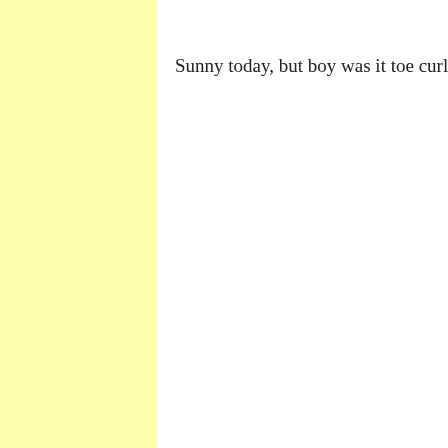[Figure (other): Yellow vertical column/panel on the left side of the page]
Sunny today, but boy was it toe curling c